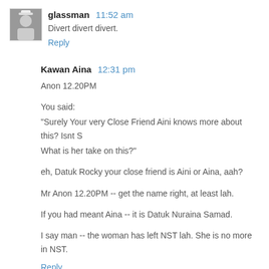glassman  11:52 am
Divert divert divert.
Reply
Kawan Aina  12:31 pm
Anon 12.20PM
You said:
"Surely Your very Close Friend Aini knows more about this? Isnt S What is her take on this?"
eh, Datuk Rocky your close friend is Aini or Aina, aah?
Mr Anon 12.20PM -- get the name right, at least lah.
If you had meant Aina -- it is Datuk Nuraina Samad.
I say man -- the woman has left NST lah. She is no more in NST.
Reply
Anonymous  9:12 am